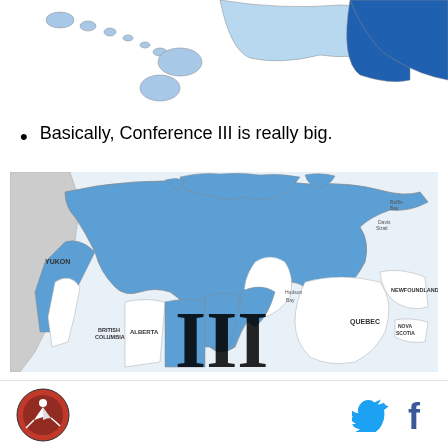[Figure (map): Partial map at top of page showing US states highlighted in blue (Hawaii visible, and California dark blue)]
Basically, Conference III is really big.
[Figure (map): Map of Canada with large Conference III territory highlighted in blue, covering most of northern and western Canada. Regions labeled include Yukon, British Columbia, Alberta, Quebec, Newfoundland, Nova Scotia. A large 'III' Roman numeral is overlaid on the map. Hudson Bay and other water bodies are visible.]
Logo icon on left; Twitter and Facebook icons on right